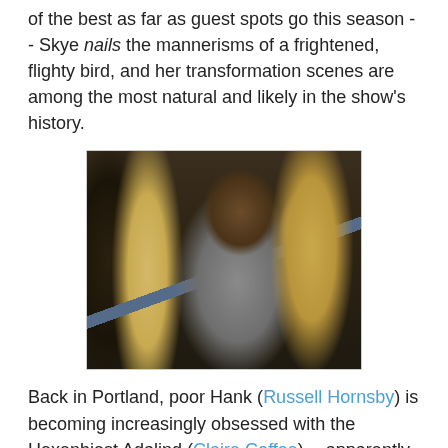of the best as far as guest spots go this season -- Skye nails the mannerisms of a frightened, flighty bird, and her transformation scenes are among the most natural and likely in the show's history.
[Figure (photo): A man in a grey suit with a striped tie leans in close to a blonde woman pressed against a wall or door frame. Another blonde woman is visible from behind in the foreground left. The scene appears to be from a TV show.]
Back in Portland, poor Hank (Russell Hornsby) is becoming increasingly obsessed with the Hexenbiest Adalind (Claire Coffee) -- apparently her magic chocolate chip cookies turn people into stalkers. Poor Hank. *sigh* At least he's not eating like a goat like the recently recovered Sgt. Wu (Reggie Lee). (When is someone going to notice THAT mess??) Curiously enough, Adalind doesn't seem all that